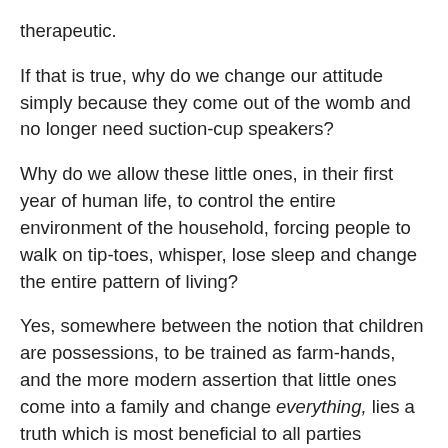therapeutic.
If that is true, why do we change our attitude simply because they come out of the womb and no longer need suction-cup speakers?
Why do we allow these little ones, in their first year of human life, to control the entire environment of the household, forcing people to walk on tip-toes, whisper, lose sleep and change the entire pattern of living?
Yes, somewhere between the notion that children are possessions, to be trained as farm-hands, and the more modern assertion that little ones come into a family and change everything, lies a truth which is most beneficial to all parties involved.
Mom and Dad, it is your job to sit down and decide what